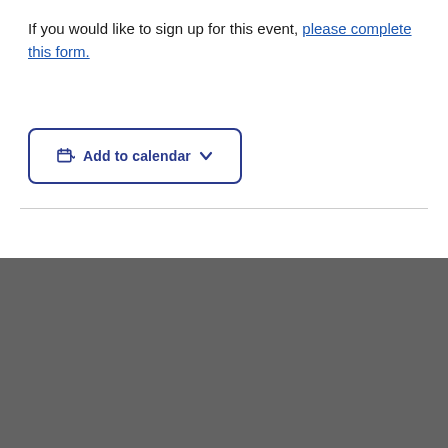If you would like to sign up for this event, please complete this form.
[Figure (other): Add to calendar button with calendar icon and dropdown arrow]
DETAILS
COOKIE NOTICE
Date:
We use cookies on this site. By continuing to browse without changing your browser settings to block or delete cookies, you agree to the UW–Madison Privacy Notice.
December 7
Time:
5:00 pm - 6:30 pm
[Figure (other): GOT IT! red button]
Event Category: